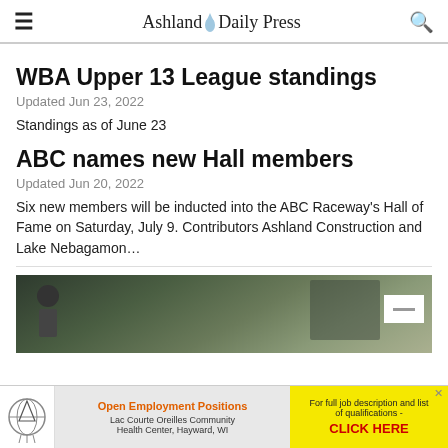Ashland Daily Press
WBA Upper 13 League standings
Updated Jun 23, 2022
Standings as of June 23
ABC names new Hall members
Updated Jun 20, 2022
Six new members will be inducted into the ABC Raceway's Hall of Fame on Saturday, July 9. Contributors Ashland Construction and Lake Nebagamon…
[Figure (photo): Photo strip showing a helmeted person and a vehicle outdoors with a white overlay box]
Open Employment Positions — Lac Courte Oreilles Community Health Center, Hayward, WI. For full job description and list of qualifications - CLICK HERE